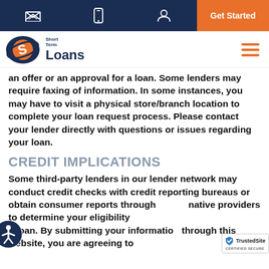Short Term Loans — navigation bar with email, phone, account icons and Get Started button
[Figure (logo): Short Term Loans logo with circular S icon in orange/navy and text 'Short Term Loans']
an offer or an approval for a loan. Some lenders may require faxing of information. In some instances, you may have to visit a physical store/branch location to complete your loan request process. Please contact your lender directly with questions or issues regarding your loan.
CREDIT IMPLICATIONS
Some third-party lenders in our lender network may conduct credit checks with credit reporting bureaus or obtain consumer reports through alternative providers to determine your eligibility for a loan. By submitting your information through this website, you are agreeing to